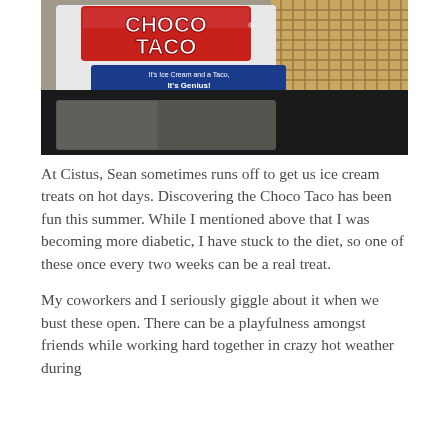[Figure (photo): A Choco Taco ice cream package. The package shows the brand name 'Choco Taco' in large red letters on white background, with a blue label reading 'It's Ice Cream and a Taco, It's Genius!' and text 'NOW WITH MORE FUDGE!' The waffle cone shell of the ice cream is visible, and the package is sitting on a dark surface.]
At Cistus, Sean sometimes runs off to get us ice cream treats on hot days. Discovering the Choco Taco has been fun this summer. While I mentioned above that I was becoming more diabetic, I have stuck to the diet, so one of these once every two weeks can be a real treat.
My coworkers and I seriously giggle about it when we bust these open. There can be a playfulness amongst friends while working hard together in crazy hot weather during